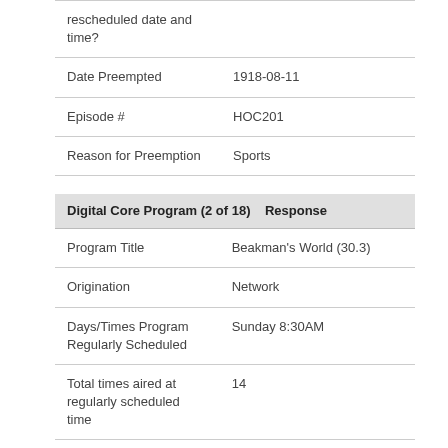| rescheduled date and time? |  |
| Date Preempted | 1918-08-11 |
| Episode # | HOC201 |
| Reason for Preemption | Sports |
| Digital Core Program (2 of 18) | Response |
| --- | --- |
| Program Title | Beakman's World (30.3) |
| Origination | Network |
| Days/Times Program Regularly Scheduled | Sunday 8:30AM |
| Total times aired at regularly scheduled time | 14 |